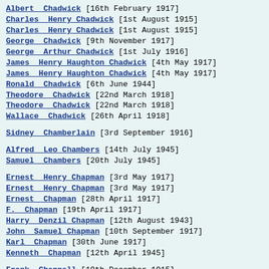Albert Chadwick [16th February 1917]
Charles Henry Chadwick [1st August 1915]
Charles Henry Chadwick [1st August 1915]
George Chadwick [9th November 1917]
George Arthur Chadwick [1st July 1916]
James Henry Haughton Chadwick [4th May 1917]
James Henry Haughton Chadwick [4th May 1917]
Ronald Chadwick [6th June 1944]
Theodore Chadwick [22nd March 1918]
Theodore Chadwick [22nd March 1918]
Wallace Chadwick [26th April 1918]
Sidney Chamberlain [3rd September 1916]
Alfred Leo Chambers [14th July 1945]
Samuel Chambers [20th July 1945]
Ernest Henry Chapman [3rd May 1917]
Ernest Henry Chapman [3rd May 1917]
Ernest Chapman [28th April 1917]
F. Chapman [19th April 1917]
Harry Denzil Chapman [12th August 1943]
John Samuel Chapman [10th September 1917]
Karl Chapman [30th June 1917]
Kenneth Chapman [12th April 1945]
Frank Chappell [19th December 1915]
Stanley Maynard Chappell [9th November 1945]
Robert Crick Charlesworth [10th February 1945]